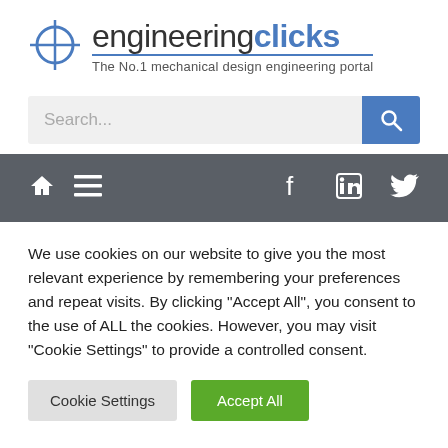[Figure (logo): engineeringclicks logo with crosshair icon and tagline 'The No.1 mechanical design engineering portal']
[Figure (screenshot): Search bar with placeholder text 'Search...' and blue search button]
[Figure (screenshot): Dark grey navigation bar with home icon, hamburger menu, Facebook, LinkedIn, and Twitter icons]
We use cookies on our website to give you the most relevant experience by remembering your preferences and repeat visits. By clicking "Accept All", you consent to the use of ALL the cookies. However, you may visit "Cookie Settings" to provide a controlled consent.
Cookie Settings
Accept All